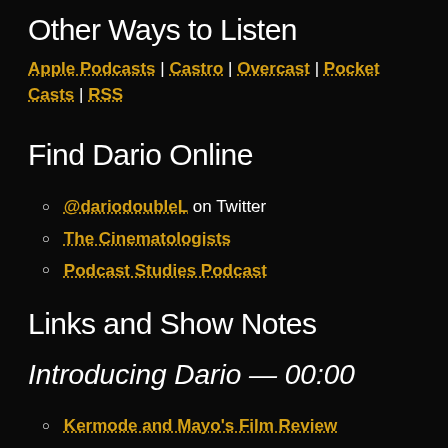Other Ways to Listen
Apple Podcasts | Castro | Overcast | Pocket Casts | RSS
Find Dario Online
@dariodoubleL on Twitter
The Cinematologists
Podcast Studies Podcast
Links and Show Notes
Introducing Dario — 00:00
Kermode and Mayo's Film Review
Serial